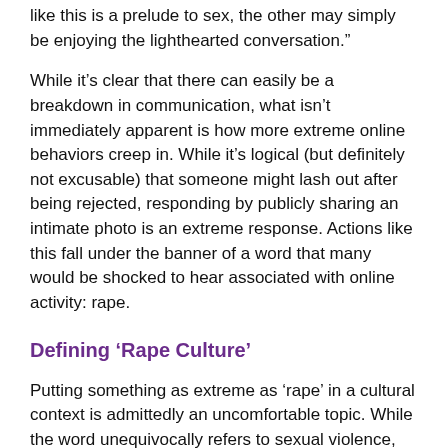like this is a prelude to sex, the other may simply be enjoying the lighthearted conversation.”
While it’s clear that there can easily be a breakdown in communication, what isn’t immediately apparent is how more extreme online behaviors creep in. While it’s logical (but definitely not excusable) that someone might lash out after being rejected, responding by publicly sharing an intimate photo is an extreme response. Actions like this fall under the banner of a word that many would be shocked to hear associated with online activity: rape.
Defining ‘Rape Culture’
Putting something as extreme as ‘rape’ in a cultural context is admittedly an uncomfortable topic. While the word unequivocally refers to sexual violence, the term ‘rape culture’ requires definition, as it takes into account a complex set of behaviors, that many may not even consider problematic.